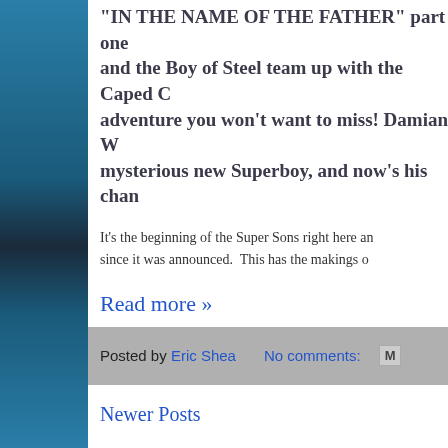"IN THE NAME OF THE FATHER" part one and the Boy of Steel team up with the Caped C adventure you won't want to miss! Damian W mysterious new Superboy, and now's his chan
It's the beginning of the Super Sons right here an since it was announced.  This has the makings o
Read more »
Posted by Eric Shea   No comments:
Newer Posts